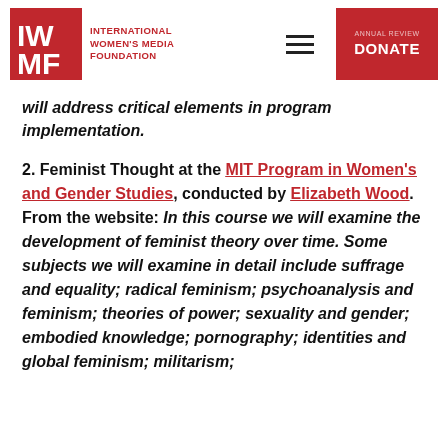INTERNATIONAL WOMEN'S MEDIA FOUNDATION
will address critical elements in program implementation.
2. Feminist Thought at the MIT Program in Women's and Gender Studies, conducted by Elizabeth Wood. From the website: In this course we will examine the development of feminist theory over time. Some subjects we will examine in detail include suffrage and equality; radical feminism; psychoanalysis and feminism; theories of power; sexuality and gender; embodied knowledge; pornography; identities and global feminism; militarism;